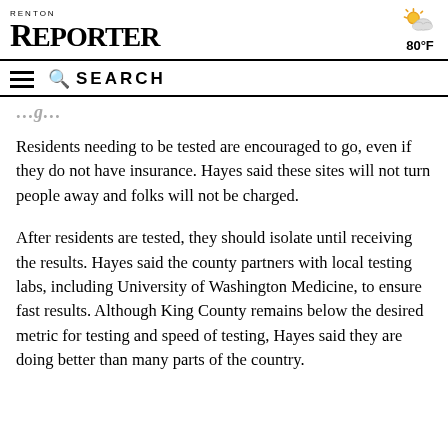RENTON REPORTER | 80°F
Residents needing to be tested are encouraged to go, even if they do not have insurance. Hayes said these sites will not turn people away and folks will not be charged.
After residents are tested, they should isolate until receiving the results. Hayes said the county partners with local testing labs, including University of Washington Medicine, to ensure fast results. Although King County remains below the desired metric for testing and speed of testing, Hayes said they are doing better than many parts of the country.